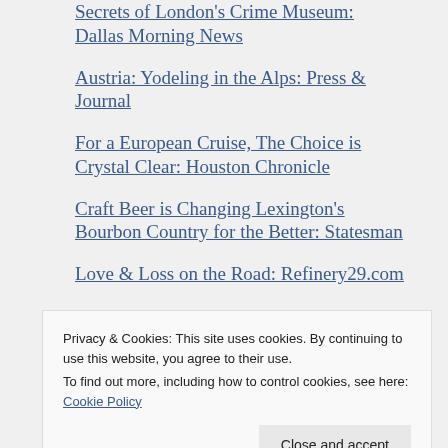Secrets of London's Crime Museum: Dallas Morning News
Austria: Yodeling in the Alps: Press & Journal
For a European Cruise, The Choice is Crystal Clear: Houston Chronicle
Craft Beer is Changing Lexington's Bourbon Country for the Better: Statesman
Love & Loss on the Road: Refinery29.com
Privacy & Cookies: This site uses cookies. By continuing to use this website, you agree to their use.
To find out more, including how to control cookies, see here: Cookie Policy
Close and accept
Girls Gone Wild in Italy's Val Gardena: